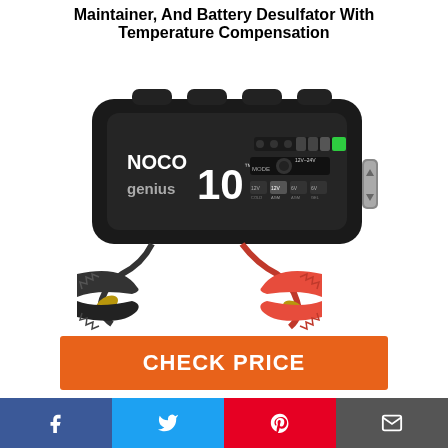Maintainer, And Battery Desulfator With Temperature Compensation
[Figure (photo): NOCO Genius 10 battery charger/maintainer product photo showing black device with alligator clamps (black and red), with NOCO genius 10 branding on front panel]
CHECK PRICE
Social share icons: Facebook, Twitter, Pinterest, Email